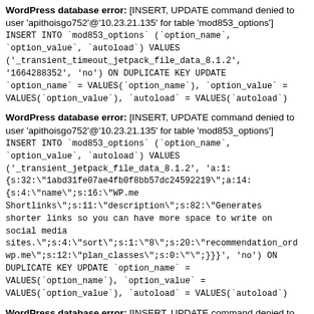WordPress database error: [INSERT, UPDATE command denied to user 'apithoisgo752'@'10.23.21.135' for table 'mod853_options'] INSERT INTO `mod853_options` (`option_name`, `option_value`, `autoload`) VALUES ('_transient_timeout_jetpack_file_data_8.1.2', '1664288352', 'no') ON DUPLICATE KEY UPDATE `option_name` = VALUES(`option_name`), `option_value` = VALUES(`option_value`), `autoload` = VALUES(`autoload`)
WordPress database error: [INSERT, UPDATE command denied to user 'apithoisgo752'@'10.23.21.135' for table 'mod853_options'] INSERT INTO `mod853_options` (`option_name`, `option_value`, `autoload`) VALUES ('_transient_jetpack_file_data_8.1.2', 'a:1:{s:32:"1abd31fe07ae4fb0f8bb57dc24592219";a:14:{s:4:"name";s:16:"WP.me Shortlinks";s:11:"description";s:82:"Generates shorter links so you can have more space to write on social media sites.";s:4:"sort";s:1:"8";s:20:"recommendation_order wp.me";s:12:"plan_classes";s:0:"";}}', 'no') ON DUPLICATE KEY UPDATE `option_name` = VALUES(`option_name`), `option_value` = VALUES(`option_value`), `autoload` = VALUES(`autoload`)
WordPress database error: [INSERT, UPDATE command denied to user 'apithoisgo752'@'10.23.21.135' for table 'mod853_options'] INSERT INTO `mod853_options` (`option_name`, `option_value`, `autoload`) VALUES